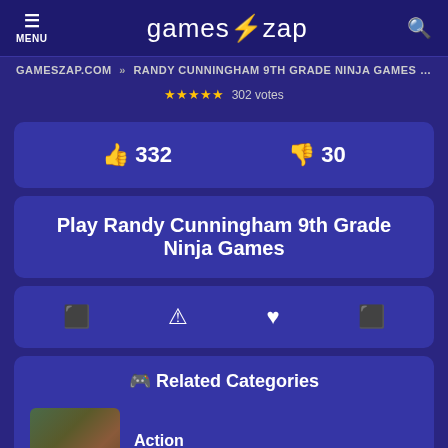MENU | games⚡zap
GAMESZAP.COM » RANDY CUNNINGHAM 9TH GRADE NINJA GAMES » PUN
★★★★★ 302 votes
👍 332   👎 30
Play Randy Cunningham 9th Grade Ninja Games
Action icons: play, warning, favorite, share
🎮 Related Categories
Action